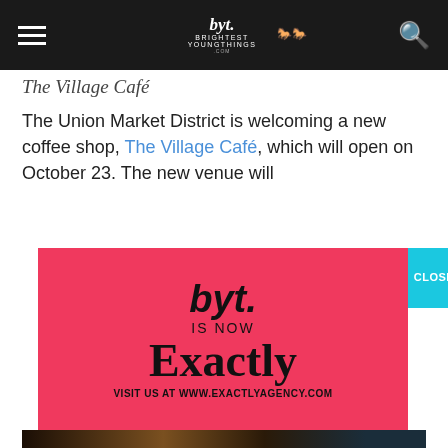Brightest Young Things - navigation header
The Village Café
The Union Market District is welcoming a new coffee shop, The Village Café, which will open on October 23. The new venue will
[Figure (advertisement): BYT (Brightest Young Things) rebranding advertisement on red/pink background. Says 'byt.' in cursive at top, 'IS NOW' below, then large 'Exactly' in bold serif, and 'VISIT US AT WWW.EXACTLYAGENCY.COM' at bottom. Has a teal CLOSE button in top right corner.]
[Figure (photo): Dark photo showing what appears to be a glass on a table, partially visible at bottom of page.]